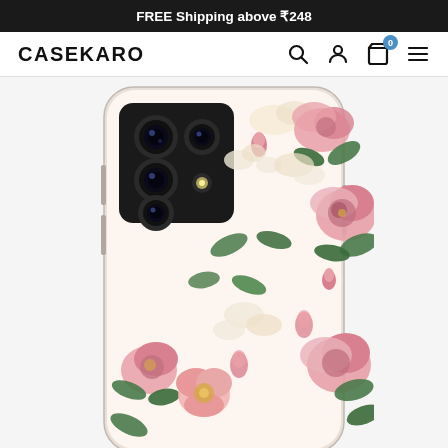FREE Shipping above ₹248
CASEKARO
[Figure (photo): A smartphone (Samsung Galaxy A52 style) wearing a white floral phone case decorated with pink roses, smaller white flowers, and green leaves. The back of the phone shows a rectangular quad-camera module with four lenses. The case design fills the visible back panel.]